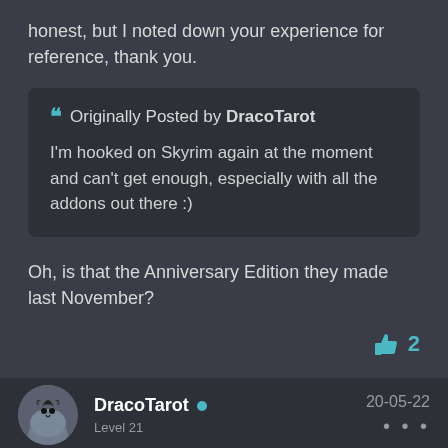honest, but I noted down your experience for reference, thank you.
Originally Posted by DracoTarot
I'm hooked on Skyrim again at the moment and can't get enough, especially with all the addons out there :)
Oh, is that the Anniversary Edition they made last November?
2
DracoTarot
20-05-22
Level 21